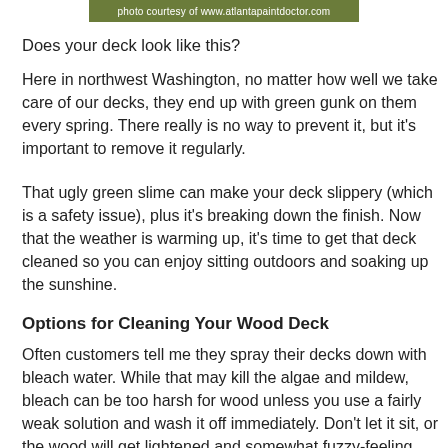[Figure (photo): Photo banner with text 'photo courtesy of www.atlantapaintdoctor.com' overlaid on a green nature/deck background image]
Does your deck look like this?
Here in northwest Washington, no matter how well we take care of our decks, they end up with green gunk on them every spring.  There really is no way to prevent it, but it's important to remove it regularly.
That ugly green slime can make your deck slippery (which is a safety issue), plus it's breaking down the finish.  Now that the weather is warming up, it's time to get that deck cleaned so you can enjoy sitting outdoors and soaking up the sunshine.
Options for Cleaning Your Wood Deck
Often customers tell me they spray their decks down with bleach water.  While that may kill the algae and mildew, bleach can be too harsh for wood unless you use a fairly weak solution and wash it off immediately.  Don't let it sit, or the wood will get lightened and somewhat fuzzy-feeling.  Also, while bleach is an effective algae killer,